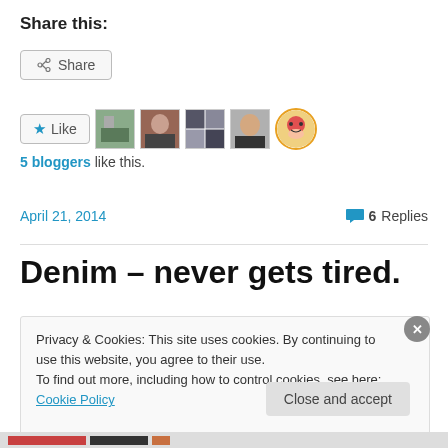Share this:
[Figure (screenshot): Share button with share icon]
[Figure (screenshot): Like button with star icon and 5 blogger avatars]
5 bloggers like this.
April 21, 2014    💬 6 Replies
Denim – never gets tired.
Privacy & Cookies: This site uses cookies. By continuing to use this website, you agree to their use.
To find out more, including how to control cookies, see here: Cookie Policy
Close and accept